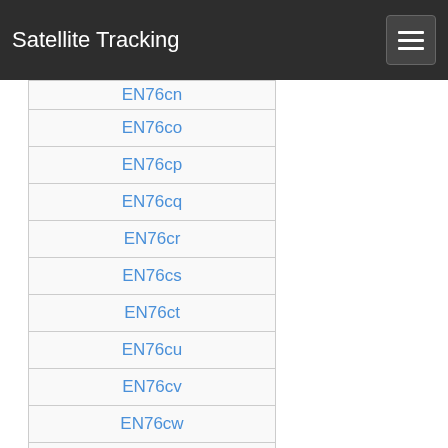Satellite Tracking
EN76cn
EN76co
EN76cp
EN76cq
EN76cr
EN76cs
EN76ct
EN76cu
EN76cv
EN76cw
EN76cx
EN76da
EN76db
EN76dc
EN76dd
EN76de
EN76df
EN76dg